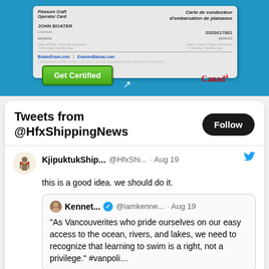[Figure (screenshot): Advertisement for Pleasure Craft Operator Card / Carte de conducteur d'embarcation de plaisance from BoaterExam.com and ExamenBateau.com, featuring a sample card with name JOHN BOATER, number 0303617061, dates 66/06/02 and 02/04/15. Shows a 'Get Certified' green button and the Canada wordmark on a blue background.]
[Figure (screenshot): Embedded Twitter widget showing 'Tweets from @HfxShippingNews' with a Follow button. Contains a tweet by KjipuktukShip... (@HfxShi...) on Aug 19 saying 'this is a good idea. we should do it.' which quotes a tweet by Kennet... (@iamkenne...) on Aug 19 saying 'As Vancouverites who pride ourselves on our easy access to the ocean, rivers, and lakes, we need to recognize that learning to swim is a right, not a privilege.' #vanpoli...]